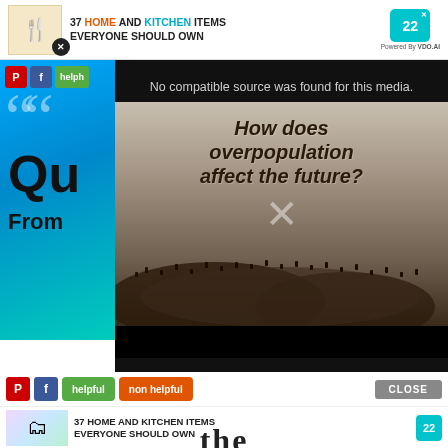[Figure (screenshot): Top advertisement banner: kitchen knife set image, text '37 HOME AND KITCHEN ITEMS EVERYONE SHOULD OWN', VDO.AI badge logo, close X button]
[Figure (screenshot): Left column partial: Pinterest and Facebook social buttons, 'helpful' green button, large white quotation marks on blue gradient background, partial text 'Qu' and 'From']
[Figure (screenshot): Video player overlay on dark background: message 'No compatible source was found for this media.' overlaid on thumbnail image of crowd with text 'How does overpopulation affect the future?', X close button, black control bar]
[Figure (screenshot): Bottom social buttons row: Pinterest, Facebook, 'helpful' green, 'non helpful' orange buttons, 'CLOSE' gray button on right]
[Figure (screenshot): Bottom advertisement: colorful zipper bags image, '37 HOME AND KITCHEN ITEMS EVERYONE SHOULD OWN', VDO.AI teal badge, X close button]
the